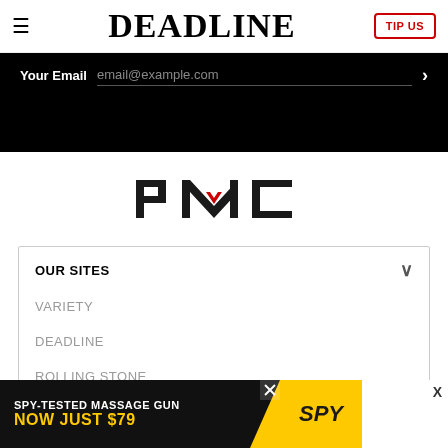≡   DEADLINE   TIP US
Your Email   email@example.com   >
[Figure (logo): PMC logo with red chevron accent between stylized letters P, M, C]
OUR SITES
VARIETY
DEADLINE
ROLLING STONE
WWD
HOLLYWOODLIFE
[Figure (screenshot): Ad banner: SPY-TESTED MASSAGE GUN NOW JUST $79 with SPY logo on yellow background]